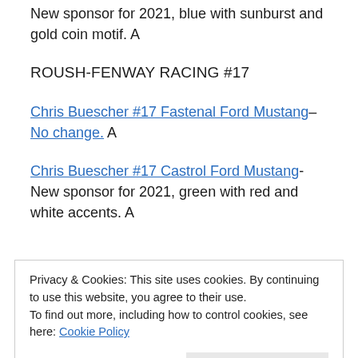New sponsor for 2021, blue with sunburst and gold coin motif. A
ROUSH-FENWAY RACING #17
Chris Buescher #17 Fastenal Ford Mustang–No change. A
Chris Buescher #17 Castrol Ford Mustang-New sponsor for 2021, green with red and white accents. A
Privacy & Cookies: This site uses cookies. By continuing to use this website, you agree to their use.
To find out more, including how to control cookies, see here: Cookie Policy
New sponsor for 2021, blue, black, and white with